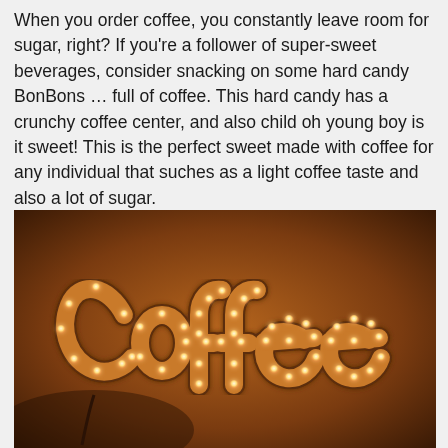When you order coffee, you constantly leave room for sugar, right? If you're a follower of super-sweet beverages, consider snacking on some hard candy BonBons … full of coffee. This hard candy has a crunchy coffee center, and also child oh young boy is it sweet! This is the perfect sweet made with coffee for any individual that suches as a light coffee taste and also a lot of sugar.
[Figure (photo): A marquee-style illuminated 'Coffee' sign with small round light bulbs embedded along the cursive letters, photographed against a warm brown background.]